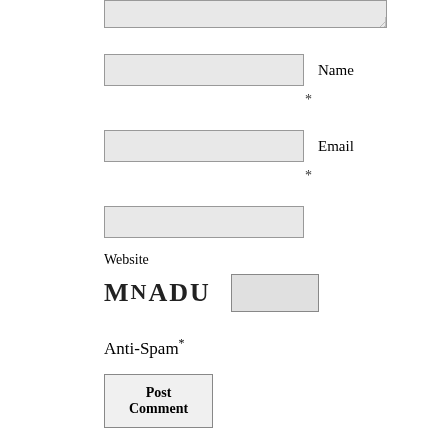[Figure (screenshot): Textarea input box at top of page, partially visible]
Name *
Email *
Website
[Figure (screenshot): CAPTCHA image showing text MNADU with an input box next to it]
Anti-Spam *
Post Comment